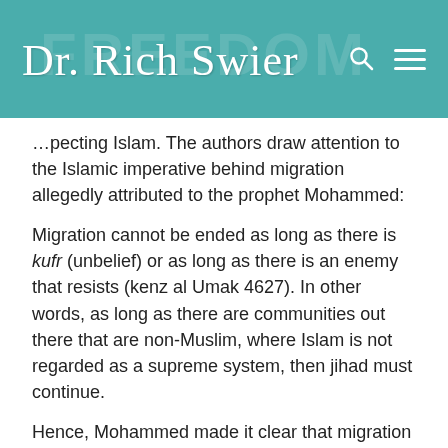Dr. Rich Swier
…pecting Islam. The authors draw attention to the Islamic imperative behind migration allegedly attributed to the prophet Mohammed:
Migration cannot be ended as long as there is kufr (unbelief) or as long as there is an enemy that resists (kenz al Umak 4627). In other words, as long as there are communities out there that are non-Muslim, where Islam is not regarded as a supreme system, then jihad must continue.
Hence, Mohammed made it clear that migration is a duty that needs to be upheld